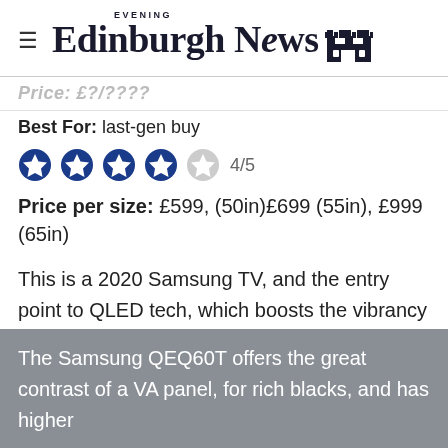Edinburgh Evening News
Price: £?/???? (partially visible)
Best For: last-gen buy
[Figure (infographic): Star rating: 4 out of 5 filled blue stars, followed by one empty star. Label: 4/5]
Price per size: £599, (50in)£699 (55in), £999 (65in)
This is a 2020 Samsung TV, and the entry point to QLED tech, which boosts the vibrancy of colour. So is it worth the extra you pay over the step-down Samsung sets?
The Samsung QEQ60T offers the great contrast of a VA panel, for rich blacks, and has higher